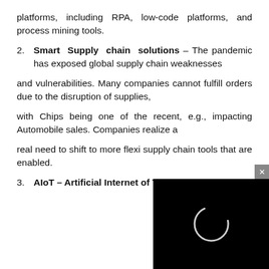platforms, including RPA, low-code platforms, and process mining tools.
2. Smart Supply chain solutions – The pandemic has exposed global supply chain weaknesses
and vulnerabilities. Many companies cannot fulfill orders due to the disruption of supplies,
with Chips being one of the recent, e.g., impacting Automobile sales. Companies realize a
real need to shift to more flexi supply chain tools that are enabled.
3. AIoT – Artificial Internet of Things – The